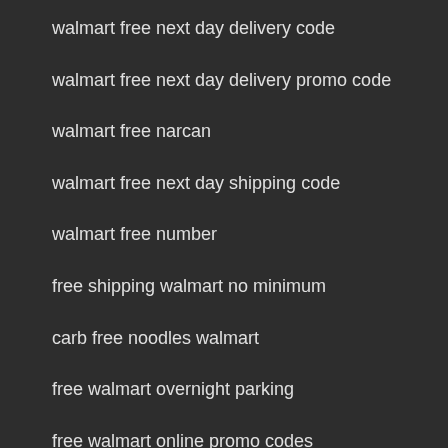walmart free next day delivery code
walmart free next day delivery promo code
walmart free narcan
walmart free next day shipping code
walmart free number
free shipping walmart no minimum
carb free noodles walmart
free walmart overnight parking
free walmart online promo codes
walmart free on